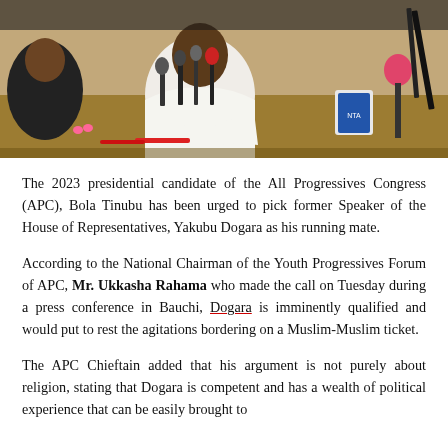[Figure (photo): A press conference scene showing a person in a white outfit seated at a table with multiple microphones in front of them, including branded microphones. Other people are partially visible at the sides.]
The 2023 presidential candidate of the All Progressives Congress (APC), Bola Tinubu has been urged to pick former Speaker of the House of Representatives, Yakubu Dogara as his running mate.
According to the National Chairman of the Youth Progressives Forum of APC, Mr. Ukkasha Rahama who made the call on Tuesday during a press conference in Bauchi, Dogara is imminently qualified and would put to rest the agitations bordering on a Muslim-Muslim ticket.
The APC Chieftain added that his argument is not purely about religion, stating that Dogara is competent and has a wealth of political experience that can be easily brought to